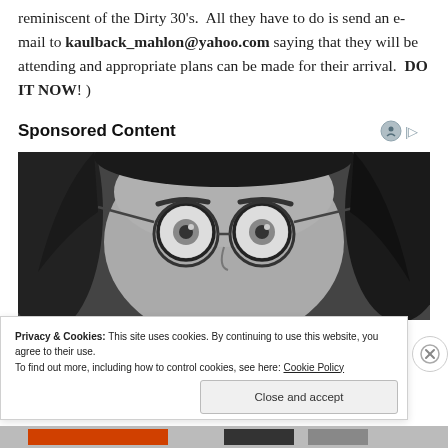reminiscent of the Dirty 30's.  All they have to do is send an e-mail to kaulback_mahlon@yahoo.com saying that they will be attending and appropriate plans can be made for their arrival.  DO IT NOW! )
Sponsored Content
[Figure (photo): Black and white close-up photo of a person wearing round glasses, showing eyes and upper face with dark hair.]
Privacy & Cookies: This site uses cookies. By continuing to use this website, you agree to their use.
To find out more, including how to control cookies, see here: Cookie Policy
Close and accept